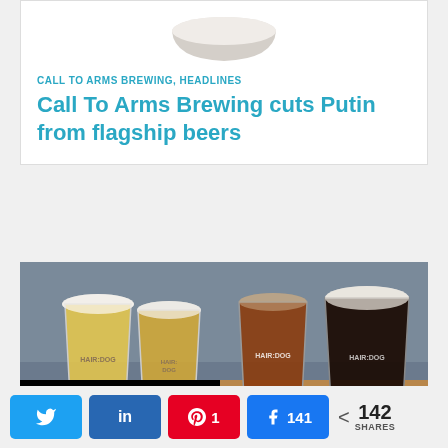[Figure (photo): Partial view of a bowl or cup at the top of the article card]
CALL TO ARMS BREWING, HEADLINES
Call To Arms Brewing cuts Putin from flagship beers
[Figure (photo): Four beer glasses of varying colors (pale lager, golden ale, amber ale, dark stout) in HAIR:DOG branded glasses on a wooden table, with overlay text 'A brewing great retires']
A brewing great retires
Twitter share, LinkedIn share, Pinterest 1, Facebook 141, < 142 SHARES